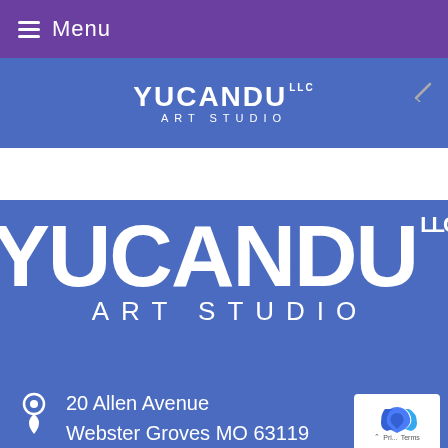Menu
[Figure (logo): Yucandu LLC Art Studio small logo on blue header background]
[Figure (logo): Yucandu LLC Art Studio large logo on blue background]
20 Allen Avenue
Webster Groves MO 63119